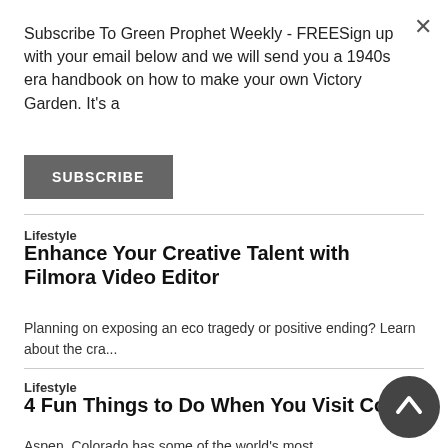Subscribe To Green Prophet Weekly - FREESign up with your email below and we will send you a 1940s era handbook on how to make your own Victory Garden. It's a
SUBSCRIBE
Lifestyle
Enhance Your Creative Talent with Filmora Video Editor
Planning on exposing an eco tragedy or positive ending? Learn about the cra...
Lifestyle
4 Fun Things to Do When You Visit Color
Aspen, Colorado has some of the world's most gorgeous natu eco hotels...